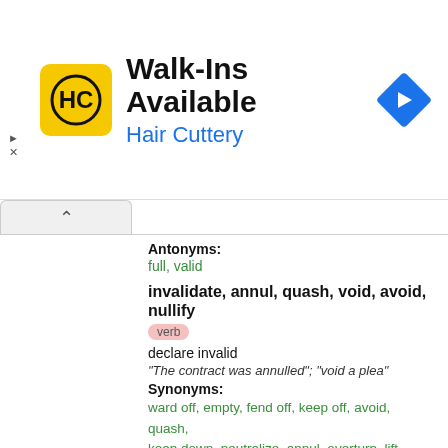[Figure (screenshot): Hair Cuttery advertisement banner with logo, 'Walk-Ins Available' headline, and navigation icon]
Antonyms:
full, valid
invalidate, annul, quash, void, avoid, nullify
verb
declare invalid
"The contract was annulled"; "void a plea"
Synonyms:
ward off, empty, fend off, keep off, avoid, quash, keep down, neutralize, annul, overturn, lift, neutralise, head off, nullify, deflect, stave off, rescind, subjugate, evacuate, reduce, avert, vitiate, repeal, invalidate, debar, forefend, negate, forfend, reverse, obviate, revoke, vacate, subdue, cancel, countermand, repress
Antonyms: